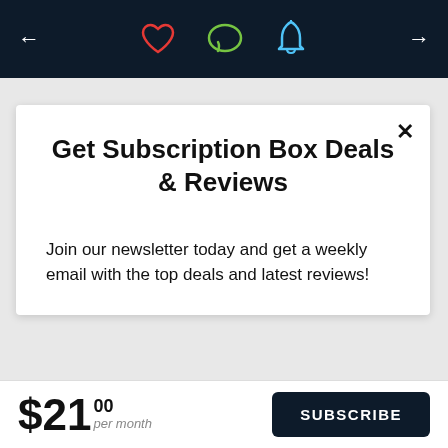[Figure (screenshot): Navigation bar with back arrow, heart icon (red), chat bubble icon (green), bell icon (blue), and forward arrow on dark navy background]
Get Subscription Box Deals & Reviews
Join our newsletter today and get a weekly email with the top deals and latest reviews!
$21.00 per month
SUBSCRIBE